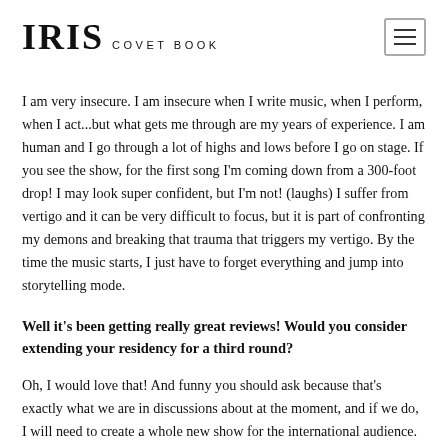IRIS COVET BOOK
I am very insecure. I am insecure when I write music, when I perform, when I act...but what gets me through are my years of experience. I am human and I go through a lot of highs and lows before I go on stage. If you see the show, for the first song I'm coming down from a 300-foot drop! I may look super confident, but I'm not! (laughs) I suffer from vertigo and it can be very difficult to focus, but it is part of confronting my demons and breaking that trauma that triggers my vertigo. By the time the music starts, I just have to forget everything and jump into storytelling mode.
Well it's been getting really great reviews! Would you consider extending your residency for a third round?
Oh, I would love that! And funny you should ask because that's exactly what we are in discussions about at the moment, and if we do, I will need to create a whole new show for the international audience.